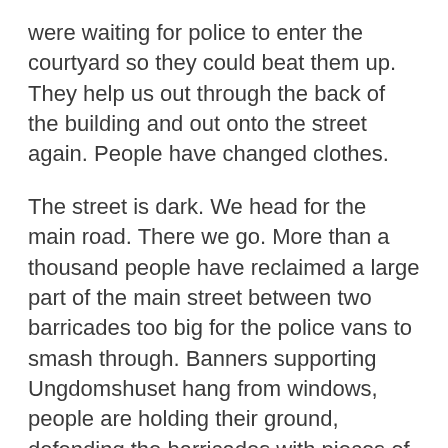were waiting for police to enter the courtyard so they could beat them up. They help us out through the back of the building and out onto the street again. People have changed clothes.
The street is dark. We head for the main road. There we go. More than a thousand people have reclaimed a large part of the main street between two barricades too big for the police vans to smash through. Banners supporting Ungdomshuset hang from windows, people are holding their ground, defending the barricades with pieces of pavement every time a police van comes too close. The police have changed tactics: instead of driving really fast up and down the street, they've now retreated to just defending the Runddelen square.